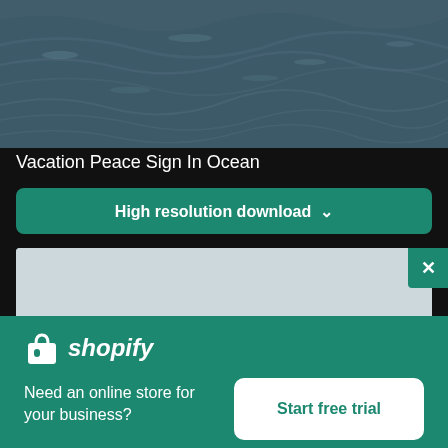[Figure (photo): Ocean water surface with waves, dark blue-teal color]
Vacation Peace Sign In Ocean
High resolution download ↓
[Figure (photo): Light gray sky or ocean horizon photo]
[Figure (logo): Shopify logo with shopping bag icon and italic shopify text]
Need an online store for your business?
Start free trial